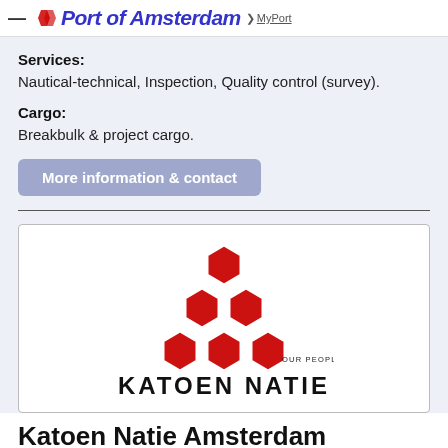Port of Amsterdam  MyPort
Services:
Nautical-technical, Inspection, Quality control (survey).
Cargo:
Breakbulk & project cargo.
More information & contact
[Figure (logo): Katoen Natie logo: red hexagon pyramid with tagline OUR PEOPLE MAKE THE DIFFERENCE and company name KATOEN NATIE]
Katoen Natie Amsterdam